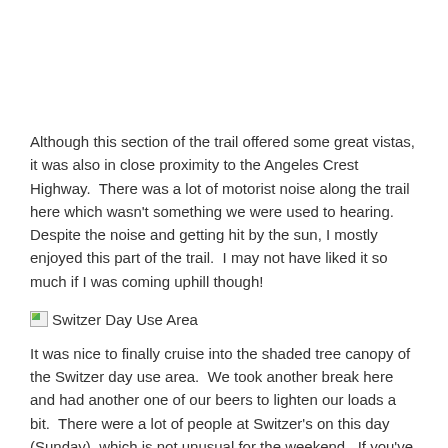Although this section of the trail offered some great vistas, it was also in close proximity to the Angeles Crest Highway.  There was a lot of motorist noise along the trail here which wasn't something we were used to hearing.  Despite the noise and getting hit by the sun, I mostly enjoyed this part of the trail.  I may not have liked it so much if I was coming uphill though!
[Figure (photo): Broken image placeholder with label 'Switzer Day Use Area']
Switzer Day Use Area
It was nice to finally cruise into the shaded tree canopy of the Switzer day use area.  We took another break here and had another one of our beers to lighten our loads a bit.  There were a lot of people at Switzer's on this day (Sunday), which is not unusual for the weekend.  If you've ever visited this area you know how popular it can be on a nice day.  I was honestly happy to be hiking pass all the crowds and day-hikers back into the peaceful solitude of the mountains.